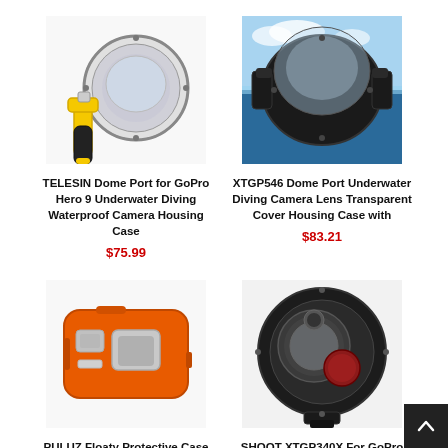[Figure (photo): TELESIN Dome Port for GoPro Hero 9 - underwater camera dome port with yellow handle grip]
TELESIN Dome Port for GoPro Hero 9 Underwater Diving Waterproof Camera Housing Case
$75.99
[Figure (photo): XTGP546 Dome Port Underwater Diving Camera Lens Transparent Cover Housing Case - shown half submerged in water]
XTGP546 Dome Port Underwater Diving Camera Lens Transparent Cover Housing Case with
$83.21
[Figure (photo): PULUZ Floaty Protective Case for GoPro HERO8 - orange foam floaty case]
PULUZ Floaty Protective Case For GoPro HERO8
[Figure (photo): SHOOT XTGP340X For GoPro HERO7/6/5 dome port lens cover with red filter]
SHOOT XTGP340X For GoPro HERO7/6/5